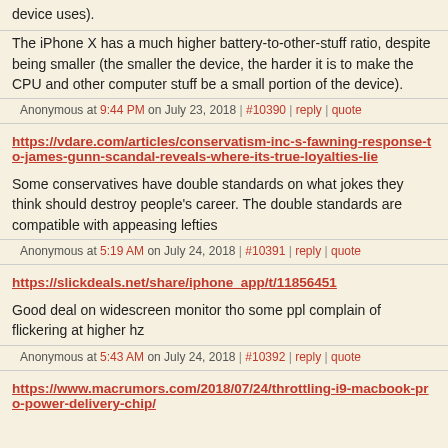device uses).
The iPhone X has a much higher battery-to-other-stuff ratio, despite being smaller (the smaller the device, the harder it is to make the CPU and other computer stuff be a small portion of the device).
Anonymous at 9:44 PM on July 23, 2018 | #10390 | reply | quote
https://vdare.com/articles/conservatism-inc-s-fawning-response-to-james-gunn-scandal-reveals-where-its-true-loyalties-lie
Some conservatives have double standards on what jokes they think should destroy people's career. The double standards are compatible with appeasing lefties
Anonymous at 5:19 AM on July 24, 2018 | #10391 | reply | quote
https://slickdeals.net/share/iphone_app/t/11856451
Good deal on widescreen monitor tho some ppl complain of flickering at higher hz
Anonymous at 5:43 AM on July 24, 2018 | #10392 | reply | quote
https://www.macrumors.com/2018/07/24/throttling-i9-macbook-pro-power-delivery-chip/